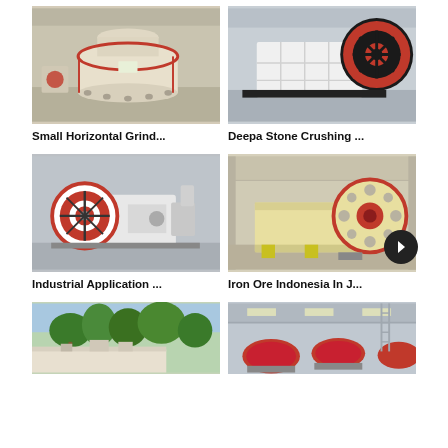[Figure (photo): Small horizontal grinding mill machine, beige/cream colored, in industrial warehouse]
Small Horizontal Grind...
[Figure (photo): Deepa stone crushing machine with large black and red flywheel, in industrial warehouse]
Deepa Stone Crushing ...
[Figure (photo): Industrial application jaw crusher with large red and white flywheels]
Industrial Application ...
[Figure (photo): Iron ore jaw crusher machine, yellow/beige, in industrial facility in Indonesia]
Iron Ore Indonesia In J...
[Figure (photo): Outdoor facility with trees and low white industrial building]
[Figure (photo): Industrial ball mill machines in warehouse]